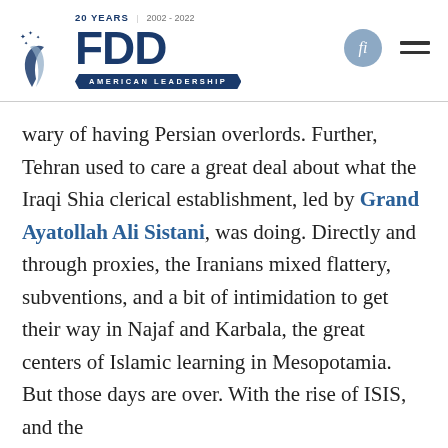FDD — AMERICAN LEADERSHIP | 20 YEARS 2002-2022
wary of having Persian overlords. Further, Tehran used to care a great deal about what the Iraqi Shia clerical establishment, led by Grand Ayatollah Ali Sistani, was doing. Directly and through proxies, the Iranians mixed flattery, subventions, and a bit of intimidation to get their way in Najaf and Karbala, the great centers of Islamic learning in Mesopotamia. But those days are over. With the rise of ISIS, and the